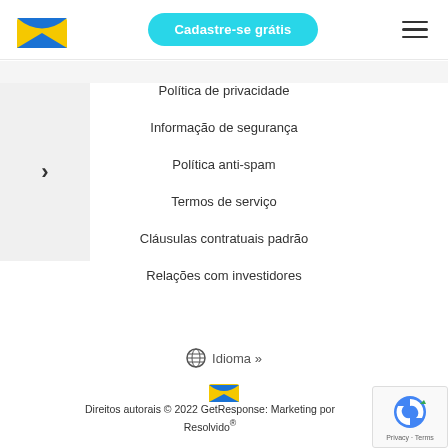[Figure (logo): GetResponse email marketing logo — envelope icon with blue and yellow colors]
Cadastre-se grátis
[Figure (other): Hamburger menu icon with three horizontal lines]
Política de privacidade
Informação de segurança
Política anti-spam
Termos de serviço
Cláusulas contratuais padrão
Relações com investidores
Idioma »
[Figure (logo): Small GetResponse envelope logo]
Direitos autorais © 2022 GetResponse: Marketing por Resolvido®